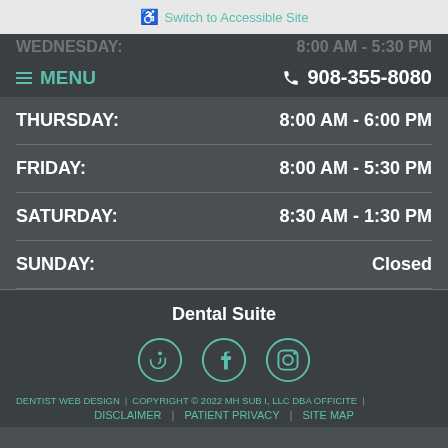Switch to Accessible Site
MENU   908-355-8080
| Day | Hours |
| --- | --- |
| WEDNESDAY: | 8:00 AM - 5:30 PM |
| THURSDAY: | 8:00 AM - 6:00 PM |
| FRIDAY: | 8:00 AM - 5:30 PM |
| SATURDAY: | 8:30 AM - 1:30 PM |
| SUNDAY: | Closed |
Dental Suite
[Figure (other): Three social media icons in teal circles: RSS feed, Facebook, Instagram]
DENTIST WEB DESIGN  |  COPYRIGHT © 2022 MH SUB I, LLC DBA OFFICITE  |  DISCLAIMER  |  PATIENT PRIVACY  |  SITE MAP